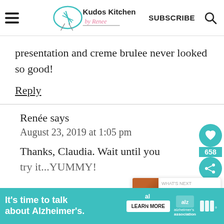Kudos Kitchen by Renee — SUBSCRIBE
presentation and creme brulee never looked so good!
Reply
Renée says
August 23, 2019 at 1:05 pm
Thanks, Claudia. Wait until you
[Figure (screenshot): Social share sidebar with heart icon, count 658, and share icon in teal circles; Orange Creme Brulée popup card with food image]
[Figure (screenshot): Advertisement banner: It's time to talk about Alzheimer's. LEARN MORE. Alzheimer's association logo.]